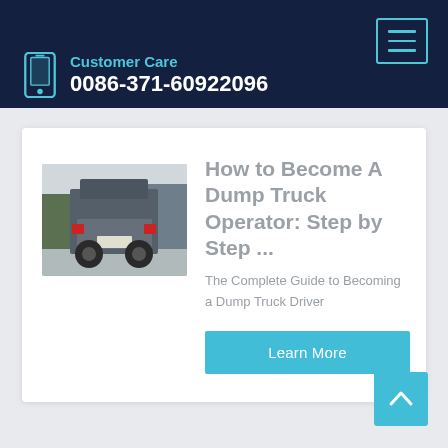Customer Care
0086-371-60922096
[Figure (screenshot): Webpage card showing a dump truck photo and article preview: 'How to Become A Dump Truck Operator: Step by Step ...' with subtitle 'The Complete Guide to Becoming a Dump Truck Driver' and a Learn More button]
How to Become A Dump Truck Operator: Step by Step ...
The Complete Guide to Becoming a Dump Truck Driver